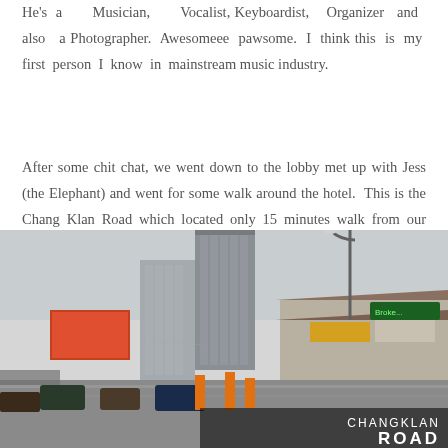He's a Musician, Vocalist, Keyboardist, Organizer and also a Photographer. Awesomeee pawsome. I think this is my first person I know in mainstream music industry.
After some chit chat, we went down to the lobby met up with Jess (the Elephant) and went for some walk around the hotel.  This is the Chang Klan Road which located only 15 minutes walk from our hotel. Every night, this place will turned into night market with many hawker stalls selling souvenirs and shirts.
[Figure (photo): Street photo of Chang Klan Road showing a busy road with tall buildings, shops with signage, cars, and a street lamp. Overlay text reads 'CHANGKLAN ROAD' in white on a dark background at the bottom right.]